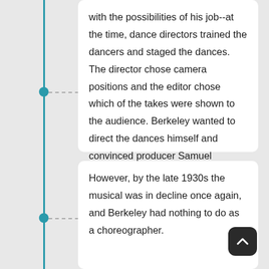with the possibilities of his job--at the time, dance directors trained the dancers and staged the dances. The director chose camera positions and the editor chose which of the takes were shown to the audience. Berkeley wanted to direct the dances himself and convinced producer Samuel Goldwyn to let him try. One of the first chances he took was that he used only one camera in his films. He also showed close-ups of the chorus girls.
However, by the late 1930s the musical was in decline once again, and Berkeley had nothing to do as a choreographer.